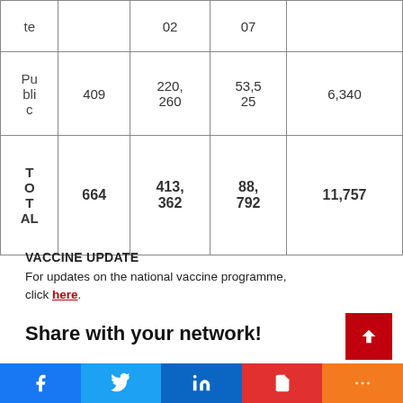|  |  |  |  |  |
| --- | --- | --- | --- | --- |
| te |  | 02 | 07 |  |
| Public | 409 | 220,260 | 53,525 | 6,340 |
| TOTAL | 664 | 413,362 | 88,792 | 11,757 |
VACCINE UPDATE
For updates on the national vaccine programme, click here.
Share with your network!